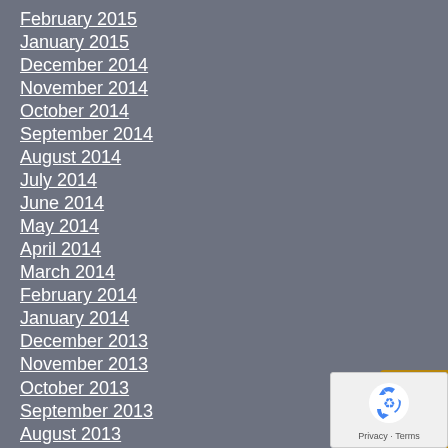February 2015
January 2015
December 2014
November 2014
October 2014
September 2014
August 2014
July 2014
June 2014
May 2014
April 2014
March 2014
February 2014
January 2014
December 2013
November 2013
October 2013
September 2013
August 2013
July 2013
June 2013
[Figure (illustration): Golden phone/call widget button on right edge]
[Figure (logo): Google reCAPTCHA badge with recycling arrow logo, Privacy and Terms text]